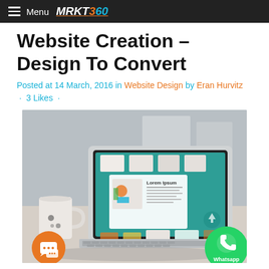Menu MRKT360
Website Creation – Design To Convert
Posted at 14 March, 2016 in Website Design by Eran Hurvitz · 3 Likes ·
[Figure (photo): Laptop on a desk with a coffee mug, showing a product website (Lorem Ipsum) with colorful toys. An orange chat bubble icon appears bottom-left and a green WhatsApp button bottom-right.]